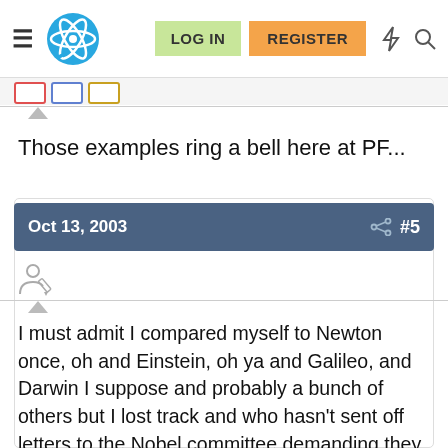Physics Forums — LOG IN | REGISTER
Those examples ring a bell here at PF...
Oct 13, 2003  #5
I must admit I compared myself to Newton once, oh and Einstein, oh ya and Galileo, and Darwin I suppose and probably a bunch of others but I lost track and who hasn't sent off letters to the Nobel committee demanding they look at one's work that is their job after all.